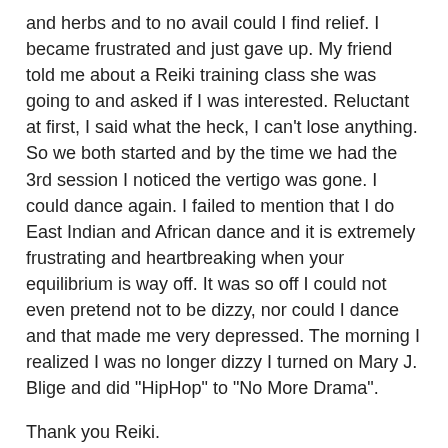and herbs and to no avail could I find relief. I became frustrated and just gave up. My friend told me about a Reiki training class she was going to and asked if I was interested. Reluctant at first, I said what the heck, I can't lose anything. So we both started and by the time we had the 3rd session I noticed the vertigo was gone. I could dance again. I failed to mention that I do East Indian and African dance and it is extremely frustrating and heartbreaking when your equilibrium is way off. It was so off I could not even pretend not to be dizzy, nor could I dance and that made me very depressed. The morning I realized I was no longer dizzy I turned on Mary J. Blige and did "HipHop" to "No More Drama".
Thank you Reiki.
Author Name: Shakti